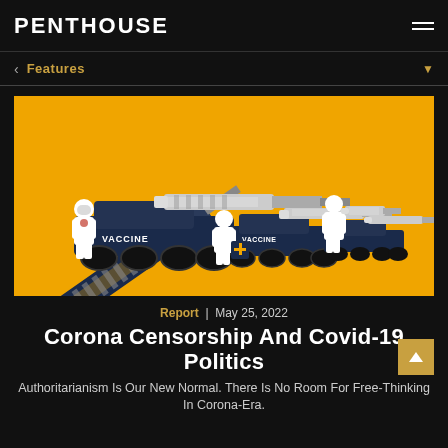PENTHOUSE
Features
[Figure (illustration): Illustration on orange/yellow background showing military tanks with syringes as gun barrels, labeled VACCINE, with figures in hazmat suits carrying large syringes]
Report  |  May 25, 2022
Corona Censorship And Covid-19 Politics
Authoritarianism Is Our New Normal. There Is No Room For Free-Thinking In Corona-Era.